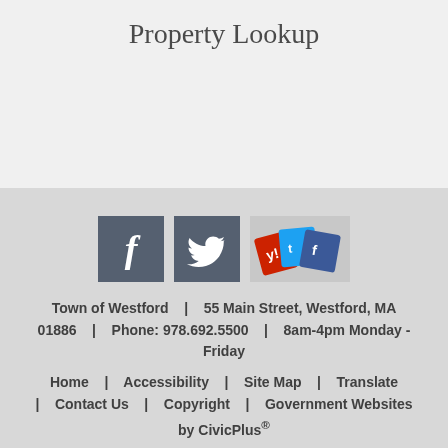Property Lookup
[Figure (infographic): Social media icons: Facebook (dark grey square with white 'f'), Twitter (dark grey square with white bird), and a multi-colored social sharing icon group]
Town of Westford | 55 Main Street, Westford, MA 01886 | Phone: 978.692.5500 | 8am-4pm Monday - Friday
Home | Accessibility | Site Map | Translate | Contact Us | Copyright | Government Websites by CivicPlus®